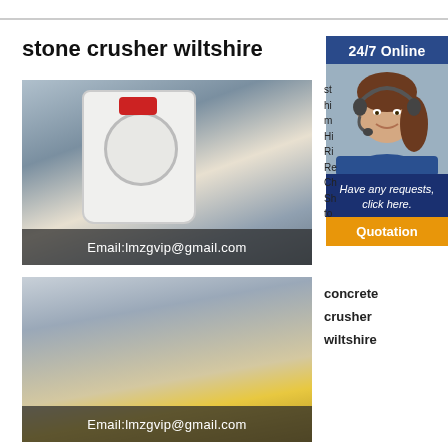stone crusher wiltshire
[Figure (photo): Photo of a large industrial stone crusher/grinding machine installed outdoors between concrete structures, with email overlay 'Email:lmzgvip@gmail.com']
[Figure (photo): Photo of a large yellow stone crushing plant/machinery at a quarry site, with email overlay 'Email:lmzgvip@gmail.com']
[Figure (infographic): Sidebar call-to-action panel: '24/7 Online' header, customer service agent photo with headset, 'Have any requests, click here.' text, and orange 'Quotation' button]
st hi m Hi Ri Re Ch Sh to
concrete crusher wiltshire